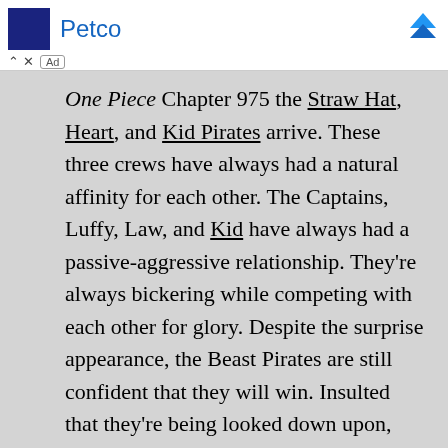[Figure (other): Petco advertisement banner with logo and blue arrow icon]
One Piece Chapter 975 the Straw Hat, Heart, and Kid Pirates arrive. These three crews have always had a natural affinity for each other. The Captains, Luffy, Law, and Kid have always had a passive-aggressive relationship. They're always bickering while competing with each other for glory. Despite the surprise appearance, the Beast Pirates are still confident that they will win. Insulted that they're being looked down upon, Luffy, Law, and Kid attack. Kid uses “Punk Rotten,” Luffy uses his “Boundman,” and
One Piece Chapter 975 the Straw Hat, Heart, and Kid Pirates arrive. These three crews have always had a natural affinity for each other. The Captains, Luffy, Law, and Kid have always had a passive-aggressive relationship. They’re always bickering while competing with each other for glory. Despite the surprise appearance, the Beast Pirates are still confident that they will win. Insulted that they’re being looked down upon, Luffy, Law, and Kid attack. Kid uses “Punk Rotten,” Luffy uses his “Boundman,” and